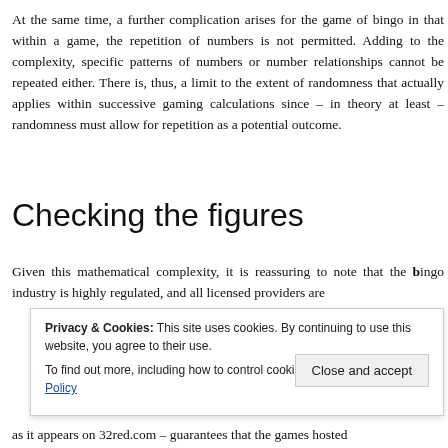At the same time, a further complication arises for the game of bingo in that within a game, the repetition of numbers is not permitted. Adding to the complexity, specific patterns of numbers or number relationships cannot be repeated either. There is, thus, a limit to the extent of randomness that actually applies within successive gaming calculations since – in theory at least – randomness must allow for repetition as a potential outcome.
Checking the figures
Given this mathematical complexity, it is reassuring to note that the bingo industry is highly regulated, and all licensed providers are
Privacy & Cookies: This site uses cookies. By continuing to use this website, you agree to their use. To find out more, including how to control cookies, see here: Privacy Policy
as it appears on 32red.com – guarantees that the games hosted